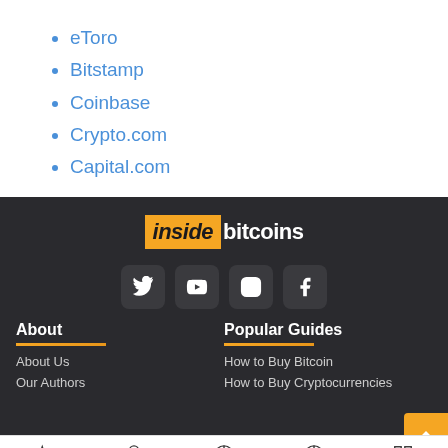eToro
Bitstamp
Coinbase
Crypto.com
Capital.com
[Figure (logo): Inside Bitcoins logo with orange background on 'inside' text and white 'bitcoins' text on dark background]
[Figure (infographic): Social media icons row: Twitter, YouTube, Instagram, Facebook on dark rounded square backgrounds]
About
Popular Guides
About Us
Our Authors
How to Buy Bitcoin
How to Buy Cryptocurrencies
Staking | Bitcoin | Gaming | Best Coins | Buy NFTs